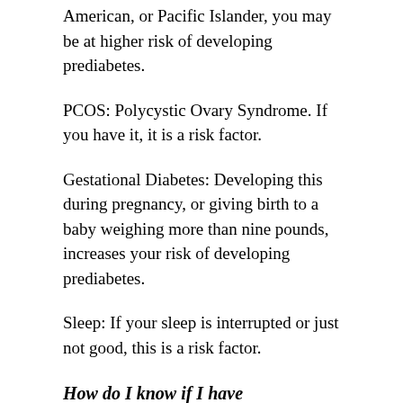American, or Pacific Islander, you may be at higher risk of developing prediabetes.
PCOS: Polycystic Ovary Syndrome. If you have it, it is a risk factor.
Gestational Diabetes: Developing this during pregnancy, or giving birth to a baby weighing more than nine pounds, increases your risk of developing prediabetes.
Sleep: If your sleep is interrupted or just not good, this is a risk factor.
How do I know if I have prediabetes?
Not everyone has symptoms. The best way to determine if you're prediabetic is to get a blood test done. There are exceptions to how blood test results are interpreted. Your provider will let you know what they